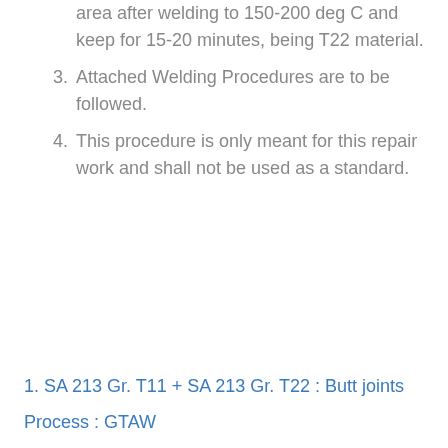area after welding to 150-200 deg C and keep for 15-20 minutes, being T22 material.
3. Attached Welding Procedures are to be followed.
4. This procedure is only meant for this repair work and shall not be used as a standard.
1. SA 213 Gr. T11 + SA 213 Gr. T22 : Butt joints
Process : GTAW